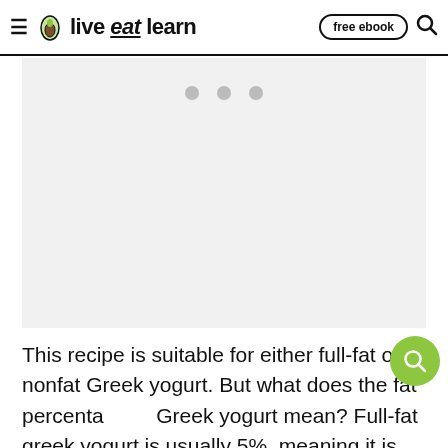live eat learn — free ebook
[Figure (other): Gray placeholder ad/image area with three dots indicating a slideshow or loading carousel]
This recipe is suitable for either full-fat or nonfat Greek yogurt. But what does the fat percentage of Greek yogurt mean? Full-fat greek yogurt is usually 5%, meaning it is 5% of fat by weight. Nonfat Greek yogurt, on the other hand, has had